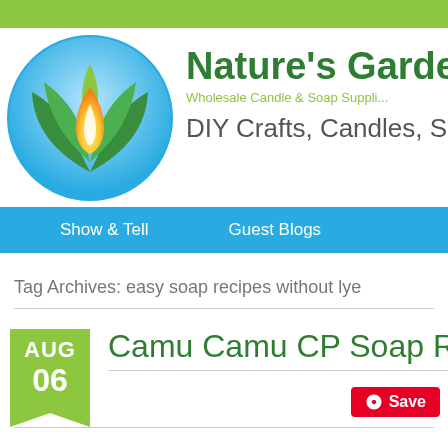[Figure (logo): Nature's Garden logo: circular design with green leaves and a yellow/white flame, on a blue/white gradient circle background]
Nature's Garden
Wholesale Candle & Soap Suppli...
DIY Crafts, Candles, Soap
Show & Tell   Guest Blogs
Tag Archives: easy soap recipes without lye
AUG 06
Camu Camu CP Soap Re...